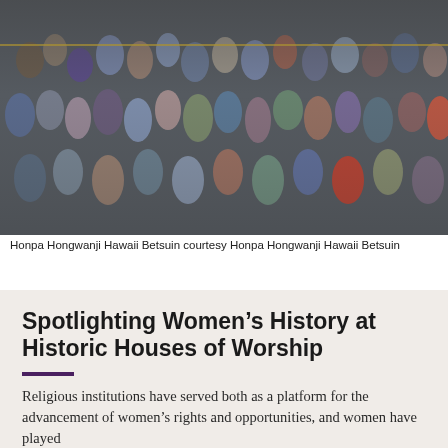[Figure (photo): Aerial/overhead view of a crowd of people gathered outdoors, many wearing traditional or colorful attire including blue floral patterns. A faint yellow horizontal line is visible across the image.]
Honpa Hongwanji Hawaii Betsuin courtesy Honpa Hongwanji Hawaii Betsuin
Spotlighting Women’s History at Historic Houses of Worship
Religious institutions have served both as a platform for the advancement of women’s rights and opportunities, and women have played